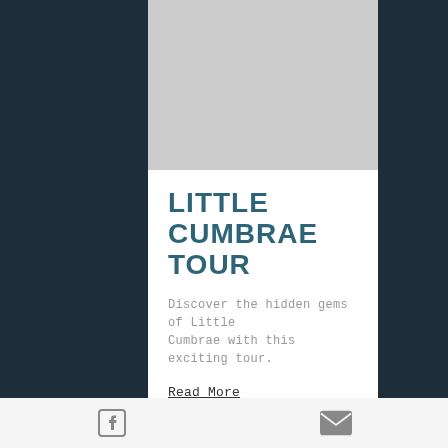[Figure (photo): Gray placeholder image area for Little Cumbrae Tour]
LITTLE CUMBRAE TOUR
Discover the hidden gems of Little Cumbrae with this exciting tour.
Read More
£22
[Figure (other): Facebook icon and email/envelope icon in bottom navigation bar]